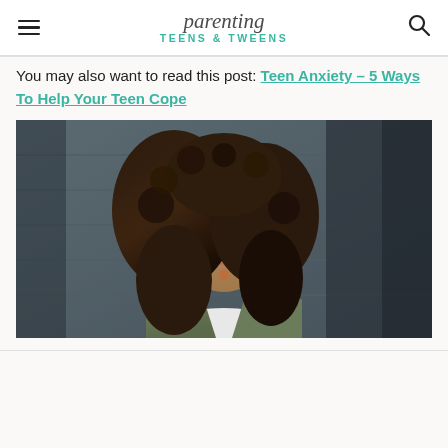parenting TEENS & TWEENS
You may also want to read this post: Teen Anxiety – 5 Ways To Help Your Teen Cope
[Figure (photo): A teenage girl with curly hair wearing a green jacket, looking serious against a dark wooden background]